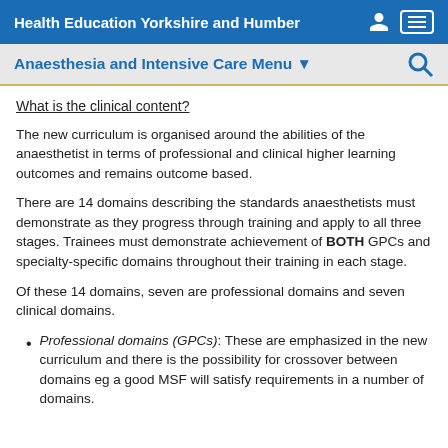Health Education Yorkshire and Humber
Anaesthesia and Intensive Care Menu
What is the clinical content?
The new curriculum is organised around the abilities of the anaesthetist in terms of professional and clinical higher learning outcomes and remains outcome based.
There are 14 domains describing the standards anaesthetists must demonstrate as they progress through training and apply to all three stages. Trainees must demonstrate achievement of BOTH GPCs and specialty-specific domains throughout their training in each stage.
Of these 14 domains, seven are professional domains and seven clinical domains.
Professional domains (GPCs): These are emphasized in the new curriculum and there is the possibility for crossover between domains eg a good MSF will satisfy requirements in a number of domains.